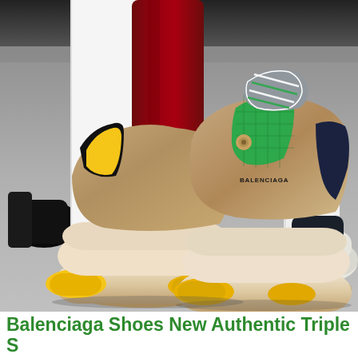[Figure (photo): Street photography close-up of Balenciaga Triple S sneakers worn by a person with red stockings. The chunky sneakers feature beige/tan base, yellow accents on sole, green mesh panel, grey upper, navy blue accent, and multi-colored lacing. Another person in the background wears white chunky sneakers. Shot from low angle on pavement.]
Balenciaga Shoes New Authentic Triple S